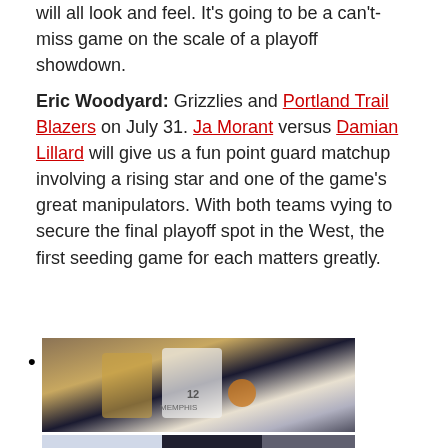will all look and feel. It's going to be a can't-miss game on the scale of a playoff showdown.
Eric Woodyard: Grizzlies and Portland Trail Blazers on July 31. Ja Morant versus Damian Lillard will give us a fun point guard matchup involving a rising star and one of the game's great manipulators. With both teams vying to secure the final playoff spot in the West, the first seeding game for each matters greatly.
[Figure (photo): Basketball player wearing Memphis Grizzlies #12 jersey dribbling the ball during a game, with opposing player in dark uniform nearby]
[Figure (photo): Basketball players on court during a game, players in white and dark uniforms, partial view]